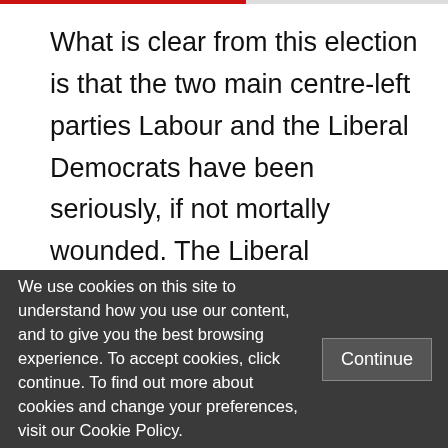What is clear from this election is that the two main centre-left parties Labour and the Liberal Democrats have been seriously, if not mortally wounded. The Liberal Democrats have lost the non-conformist vote. In the past it was the home of the protest, anti-Westminster and anti-political elite voter. The responsibility of office has destroyed that selling point and their supporters seem to
We use cookies on this site to understand how you use our content, and to give you the best browsing experience. To accept cookies, click continue. To find out more about cookies and change your preferences, visit our Cookie Policy.